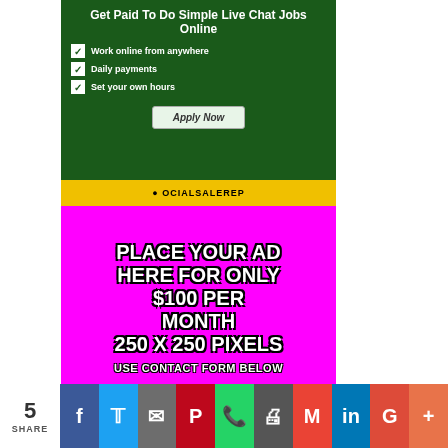[Figure (infographic): Green background ad: 'Get Paid To Do Simple Live Chat Jobs Online' with checkboxes for 'Work online from anywhere', 'Daily payments', 'Set your own hours', and an 'Apply Now' button. Yellow bar with SocialSaleRep logo below.]
[Figure (infographic): Magenta/pink background ad with bold white outlined text: 'PLACE YOUR AD HERE FOR ONLY $100 PER MONTH 250 X 250 PIXELS' and 'USE CONTACT FORM BELOW']
[Figure (infographic): Social share bar at bottom showing 5 SHARE count, with buttons for Facebook, Twitter, Email, Pinterest, WhatsApp, Print, Gmail, LinkedIn, Google+, and More]